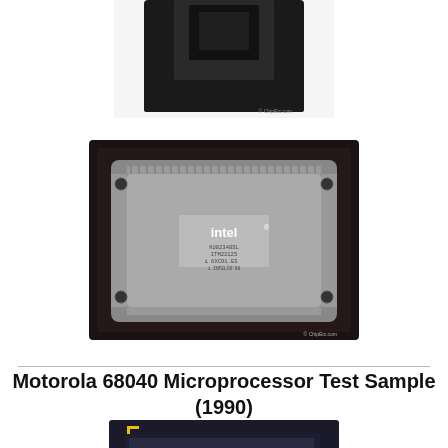[Figure (photo): Top view of a black chip/processor package, partially cropped at top, with a watermark 'ChipEtc.com']
[Figure (photo): Close-up photo of an Intel processor chip (bottom/pin side) in a dark carrier tray showing 'intel' logo, part numbers KU82348SL, ITM22125, 6XC01.ES, INTEL©D'98, with many pins visible around the periphery. Watermark 'ChipEtc.com' visible.]
Motorola 68040 Microprocessor Test Sample (1990)
[Figure (photo): Dark sample chip/package with handwritten text 'Sample BF' on a label, partially cropped at bottom of page.]